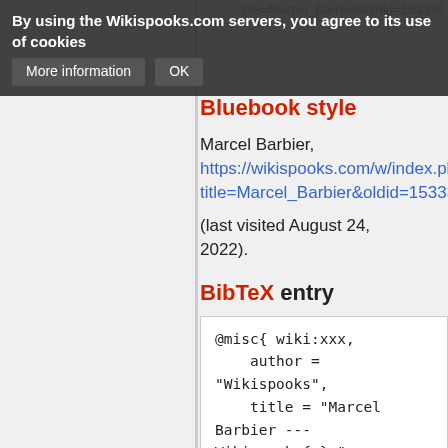title=Marcel_Barbier&oldid=153339
By using the Wikispooks.com servers, you agree to its use of cookies   More information   OK
Bluebook style
Marcel Barbier, https://wikispooks.com/w/index.php?title=Marcel_Barbier&oldid=153339 (last visited August 24, 2022).
BibTeX entry
@misc{ wiki:xxx,
    author = "Wikispooks",
    title = "Marcel Barbier --- Wikispooks{,} ",
    year = "2019",
    url = "https://wikispooks.com/w